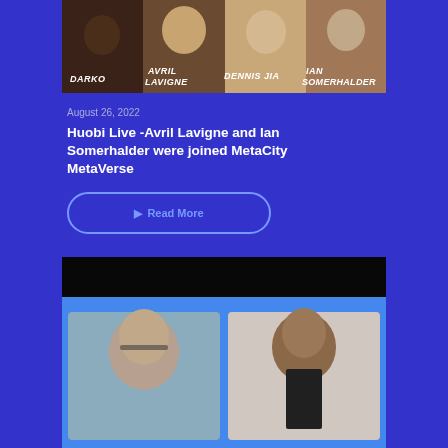[Figure (photo): Promotional image showing four people: Darko, Avril Lavigne, Dennis Jia, Ian Somerhalder with name overlays]
August 26, 2022
Huobi Live -Avril Lavigne and Ian Somerhalder were joined MetaCity MetaVerse
Read More
[Figure (photo): Video call screenshot showing two people: a bald man with glasses on the left and a young man on the right]